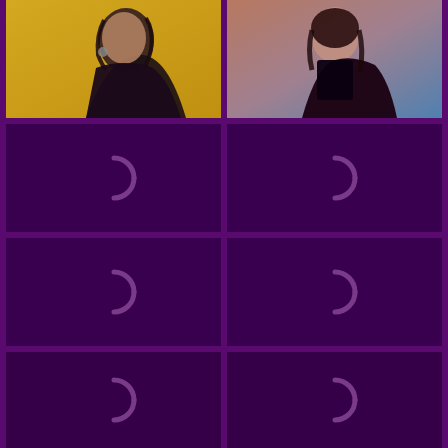[Figure (photo): Woman in dark outfit against yellow background, looking over shoulder]
[Figure (photo): Woman in dark corset outfit against pink and blue background]
[Figure (other): Loading placeholder with spinner icon, dark purple background]
[Figure (other): Loading placeholder with spinner icon, dark purple background]
[Figure (other): Loading placeholder with spinner icon, dark purple background]
[Figure (other): Loading placeholder with spinner icon, dark purple background]
[Figure (other): Loading placeholder with spinner icon, dark purple background]
[Figure (other): Loading placeholder with spinner icon, dark purple background]